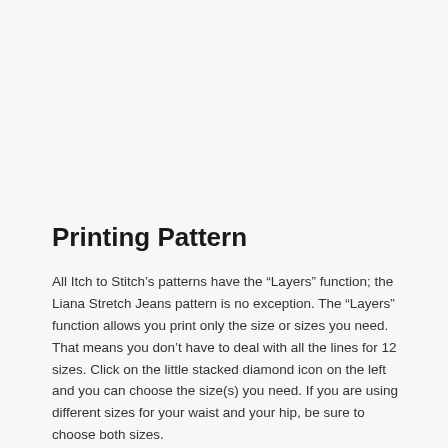Printing Pattern
All Itch to Stitch’s patterns have the “Layers” function; the Liana Stretch Jeans pattern is no exception. The “Layers” function allows you print only the size or sizes you need. That means you don’t have to deal with all the lines for 12 sizes. Click on the little stacked diamond icon on the left and you can choose the size(s) you need. If you are using different sizes for your waist and your hip, be sure to choose both sizes.